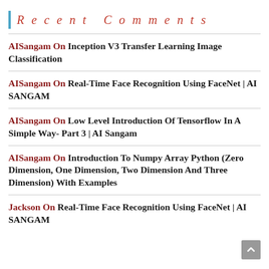Recent Comments
AISangam On Inception V3 Transfer Learning Image Classification
AISangam On Real-Time Face Recognition Using FaceNet | AI SANGAM
AISangam On Low Level Introduction Of Tensorflow In A Simple Way- Part 3 | AI Sangam
AISangam On Introduction To Numpy Array Python (Zero Dimension, One Dimension, Two Dimension And Three Dimension) With Examples
Jackson On Real-Time Face Recognition Using FaceNet | AI SANGAM